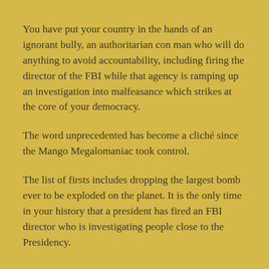You have put your country in the hands of an ignorant bully, an authoritarian con man who will do anything to avoid accountability, including firing the director of the FBI while that agency is ramping up an investigation into malfeasance which strikes at the core of your democracy.
The word unprecedented has become a cliché since the Mango Megalomaniac took control.
The list of firsts includes dropping the largest bomb ever to be exploded on the planet. It is the only time in your history that a president has fired an FBI director who is investigating people close to the Presidency.